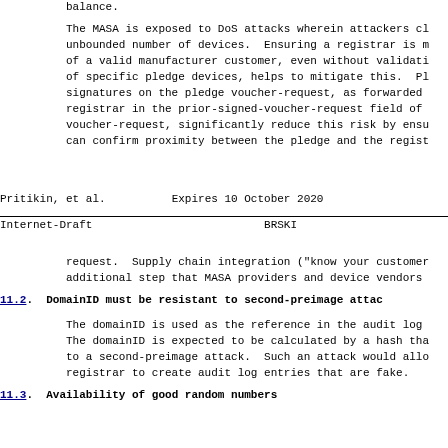balance.
The MASA is exposed to DoS attacks wherein attackers cl unbounded number of devices.  Ensuring a registrar is m of a valid manufacturer customer, even without validati of specific pledge devices, helps to mitigate this.  Pl signatures on the pledge voucher-request, as forwarded registrar in the prior-signed-voucher-request field of voucher-request, significantly reduce this risk by ensu can confirm proximity between the pledge and the regist
Pritikin, et al.          Expires 10 October 2020
Internet-Draft                           BRSKI
request.  Supply chain integration ("know your customer additional step that MASA providers and device vendors
11.2.  DomainID must be resistant to second-preimage attac
The domainID is used as the reference in the audit log The domainID is expected to be calculated by a hash tha to a second-preimage attack.  Such an attack would allo registrar to create audit log entries that are fake.
11.3.  Availability of good random numbers